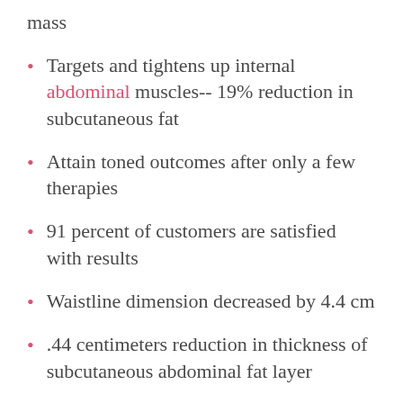mass
Targets and tightens up internal abdominal muscles-- 19% reduction in subcutaneous fat
Attain toned outcomes after only a few therapies
91 percent of customers are satisfied with results
Waistline dimension decreased by 4.4 cm
.44 centimeters reduction in thickness of subcutaneous abdominal fat layer